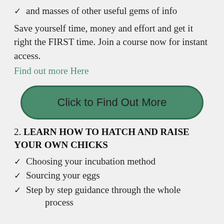and masses of other useful gems of info
Save yourself time, money and effort and get it right the FIRST time. Join a course now for instant access.
Find out more Here
[Figure (other): Green rounded rectangle button with text 'Click to Find Out More']
2. LEARN HOW TO HATCH AND RAISE YOUR OWN CHICKS
Choosing your incubation method
Sourcing your eggs
Step by step guidance through the whole process